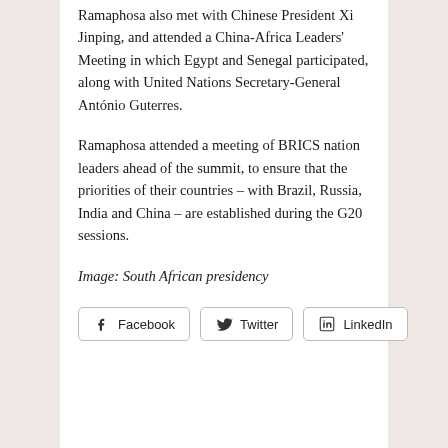Ramaphosa also met with Chinese President Xi Jinping, and attended a China-Africa Leaders' Meeting in which Egypt and Senegal participated, along with United Nations Secretary-General António Guterres.
Ramaphosa attended a meeting of BRICS nation leaders ahead of the summit, to ensure that the priorities of their countries – with Brazil, Russia, India and China – are established during the G20 sessions.
Image: South African presidency
Facebook  Twitter  LinkedIn